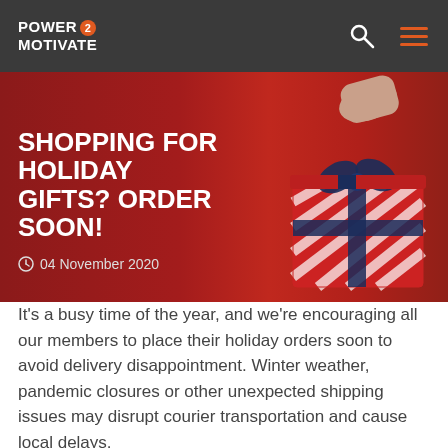POWER 2 MOTIVATE
[Figure (photo): Hero image with red background and a hand holding a red and white striped gift box with a navy blue ribbon bow, overlaid with article title and date]
SHOPPING FOR HOLIDAY GIFTS? ORDER SOON!
04 November 2020
It's a busy time of the year, and we're encouraging all our members to place their holiday orders soon to avoid delivery disappointment. Winter weather, pandemic closures or other unexpected shipping issues may disrupt courier transportation and cause local delays.